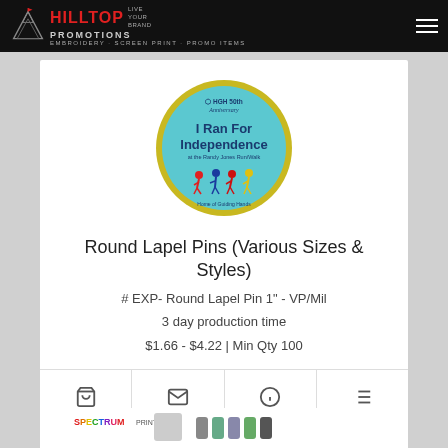Hilltop Promotions | Embroidery · Screen Print · Promo Items
[Figure (photo): Round lapel pin with light blue background, 'I Ran For Independence at the Randy Jones Run/Walk - Home of Guiding Hands' text, HGH 50th Anniversary logo, colorful running figures]
Round Lapel Pins (Various Sizes & Styles)
# EXP- Round Lapel Pin 1" - VP/Mil
3 day production time
$1.66 - $4.22 | Min Qty 100
[Figure (screenshot): Partial view of next product card showing Spectrum print logo and product images]